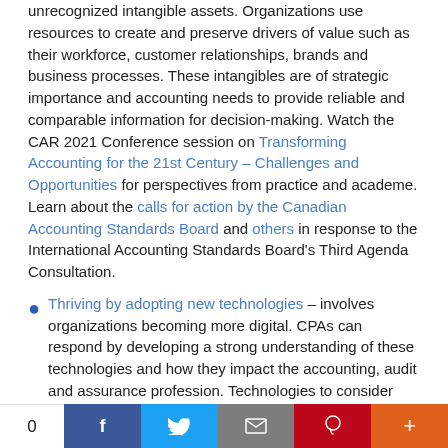unrecognized intangible assets. Organizations use resources to create and preserve drivers of value such as their workforce, customer relationships, brands and business processes. These intangibles are of strategic importance and accounting needs to provide reliable and comparable information for decision-making. Watch the CAR 2021 Conference session on Transforming Accounting for the 21st Century – Challenges and Opportunities for perspectives from practice and academe. Learn about the calls for action by the Canadian Accounting Standards Board and others in response to the International Accounting Standards Board's Third Agenda Consultation.
Thriving by adopting new technologies – involves organizations becoming more digital. CPAs can respond by developing a strong understanding of these technologies and how they impact the accounting, audit and assurance profession. Technologies to consider include AI and machine learning for complex business decision-making, robotic process automation, overcoming the barriers to digital
0